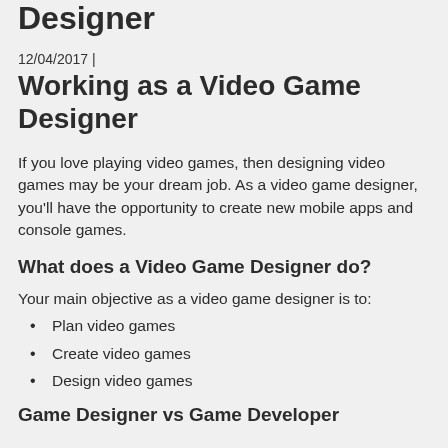Working as a Video Game Designer
12/04/2017 |
Working as a Video Game Designer
If you love playing video games, then designing video games may be your dream job. As a video game designer, you'll have the opportunity to create new mobile apps and console games.
What does a Video Game Designer do?
Your main objective as a video game designer is to:
Plan video games
Create video games
Design video games
Game Designer vs Game Developer